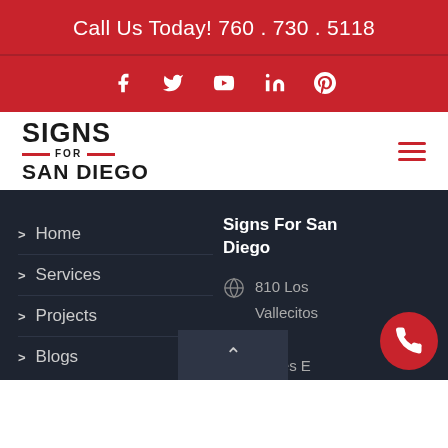Call Us Today! 760 . 730 . 5118
[Figure (illustration): Social media icons: Facebook, Twitter, YouTube, LinkedIn, Pinterest on red background]
[Figure (logo): Signs For San Diego logo with red accent lines]
> Home
> Services
> Projects
> Blogs
Signs For San Diego
810 Los Vallecitos Blvd Suites E San Marcos CA